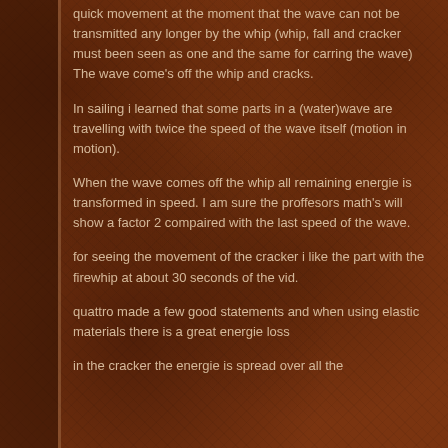quick movement at the moment that the wave can not be transmitted any longer by the whip (whip, fall and cracker must been seen as one and the same for carring the wave) The wave come's off the whip and cracks.
In sailing i learned that some parts in a (water)wave are travelling with twice the speed of the wave itself (motion in motion).
When the wave comes off the whip all remaining energie is transformed in speed. I am sure the proffesors math's will show a factor 2 compaired with the last speed of the wave.
for seeing the movement of the cracker i like the part with the firewhip at about 30 seconds of the vid.
quattro made a few good statements and when using elastic materials there is a great energie loss
in the cracker the energie is spread over all the